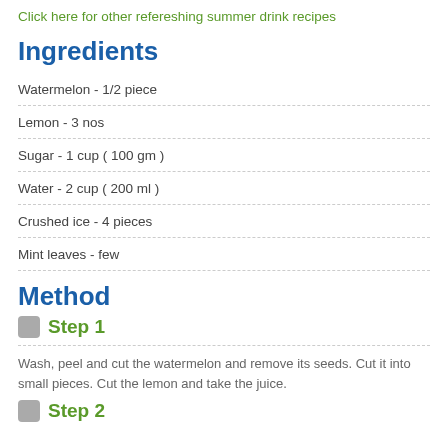Click here for other refereshing summer drink recipes
Ingredients
Watermelon - 1/2 piece
Lemon - 3 nos
Sugar - 1 cup ( 100 gm )
Water - 2 cup ( 200 ml )
Crushed ice - 4 pieces
Mint leaves - few
Method
Step 1
Wash, peel and cut the watermelon and remove its seeds. Cut it into small pieces. Cut the lemon and take the juice.
Step 2